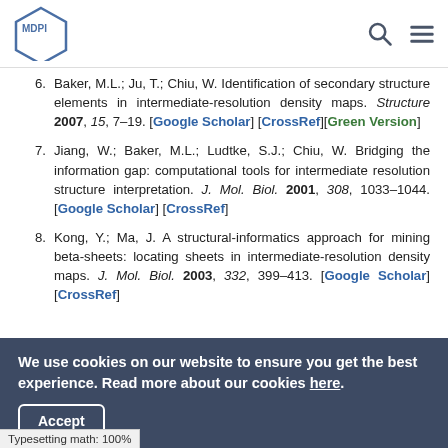MDPI
6. Baker, M.L.; Ju, T.; Chiu, W. Identification of secondary structure elements in intermediate-resolution density maps. Structure 2007, 15, 7–19. [Google Scholar] [CrossRef][Green Version]
7. Jiang, W.; Baker, M.L.; Ludtke, S.J.; Chiu, W. Bridging the information gap: computational tools for intermediate resolution structure interpretation. J. Mol. Biol. 2001, 308, 1033–1044. [Google Scholar] [CrossRef]
8. Kong, Y.; Ma, J. A structural-informatics approach for mining beta-sheets: locating sheets in intermediate-resolution density maps. J. Mol. Biol. 2003, 332, 399–413. [Google Scholar] [CrossRef]
We use cookies on our website to ensure you get the best experience. Read more about our cookies here.
Accept
Typesetting math: 100%